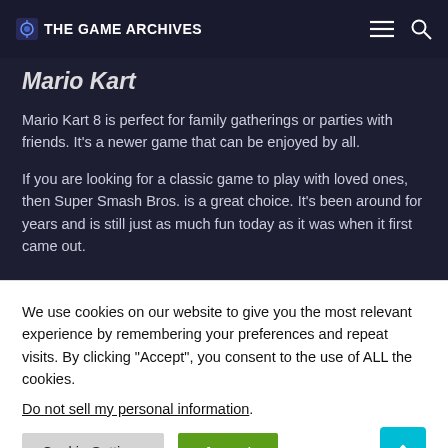THE GAME ARCHIVES
Mario Kart
Mario Kart 8 is perfect for family gatherings or parties with friends. It's a newer game that can be enjoyed by all.
If you are looking for a classic game to play with loved ones, then Super Smash Bros. is a great choice. It's been around for years and is still just as much fun today as it was when it first came out.
We use cookies on our website to give you the most relevant experience by remembering your preferences and repeat visits. By clicking "Accept", you consent to the use of ALL the cookies.
Do not sell my personal information.